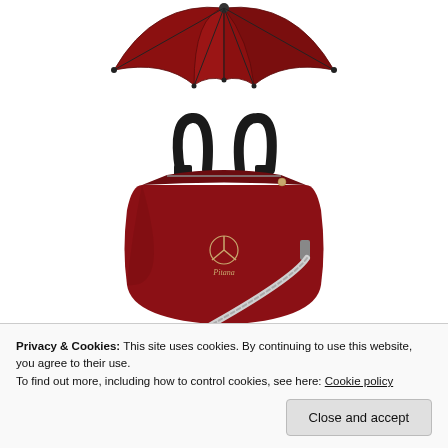[Figure (photo): Red Mercedes-Benz umbrella photographed from below showing open canopy, red and black coloring]
[Figure (photo): Red Mercedes-Benz branded handbag/shoulder bag with black handles and shoulder strap, gold star logo on front]
[Figure (photo): Small red and black Mercedes-Benz accessory item, partially visible at bottom left]
Privacy & Cookies: This site uses cookies. By continuing to use this website, you agree to their use. To find out more, including how to control cookies, see here: Cookie policy
Close and accept